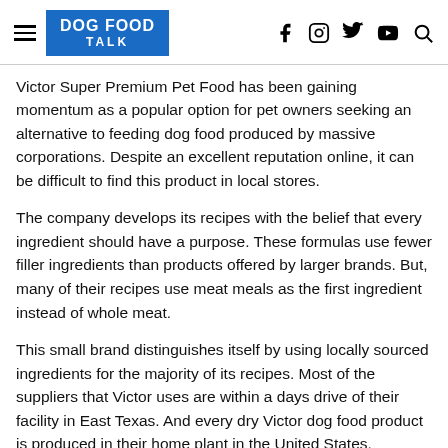DOG FOOD TALK
Victor Super Premium Pet Food has been gaining momentum as a popular option for pet owners seeking an alternative to feeding dog food produced by massive corporations. Despite an excellent reputation online, it can be difficult to find this product in local stores.
The company develops its recipes with the belief that every ingredient should have a purpose. These formulas use fewer filler ingredients than products offered by larger brands. But, many of their recipes use meat meals as the first ingredient instead of whole meat.
This small brand distinguishes itself by using locally sourced ingredients for the majority of its recipes. Most of the suppliers that Victor uses are within a days drive of their facility in East Texas. And every dry Victor dog food product is produced in their home plant in the United States.